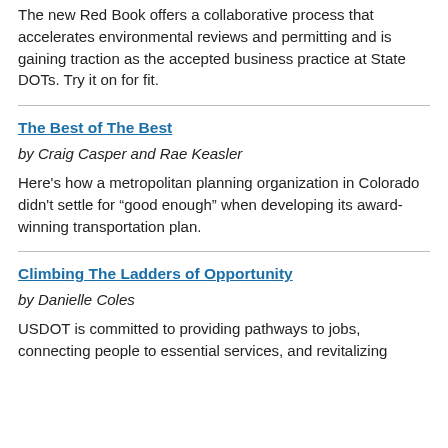The new Red Book offers a collaborative process that accelerates environmental reviews and permitting and is gaining traction as the accepted business practice at State DOTs. Try it on for fit.
The Best of The Best
by Craig Casper and Rae Keasler
Here's how a metropolitan planning organization in Colorado didn't settle for “good enough” when developing its award-winning transportation plan.
Climbing The Ladders of Opportunity
by Danielle Coles
USDOT is committed to providing pathways to jobs, connecting people to essential services, and revitalizing